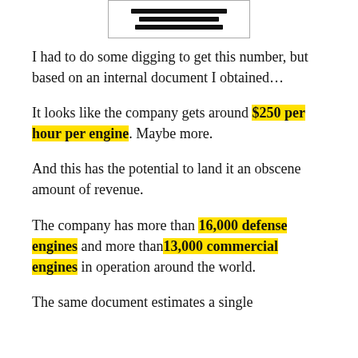[Figure (other): Redacted document header with black bars covering text]
I had to do some digging to get this number, but based on an internal document I obtained…
It looks like the company gets around $250 per hour per engine. Maybe more.
And this has the potential to land it an obscene amount of revenue.
The company has more than 16,000 defense engines and more than 13,000 commercial engines in operation around the world.
The same document estimates a single